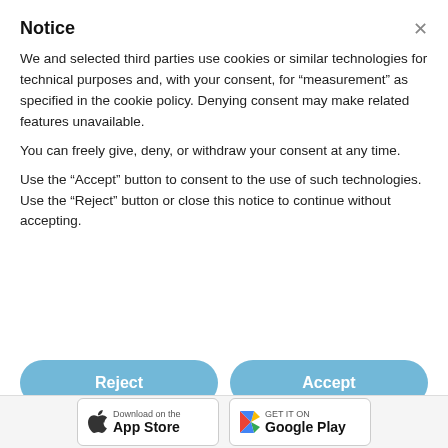washdoctors
Mobile Car Valeting Brighton
Had enough of having to wait to get your car washed?
We come directly to your home or workplace to give your car a new lease of life.
Worry-free mobile car valeting in Brighton
Notice
We and selected third parties use cookies or similar technologies for technical purposes and, with your consent, for “measurement” as specified in the cookie policy. Denying consent may make related features unavailable.
You can freely give, deny, or withdraw your consent at any time.
Use the “Accept” button to consent to the use of such technologies. Use the “Reject” button or close this notice to continue without accepting.
Reject   Accept
Learn more and customize
Download on the App Store   GET IT ON Google Play